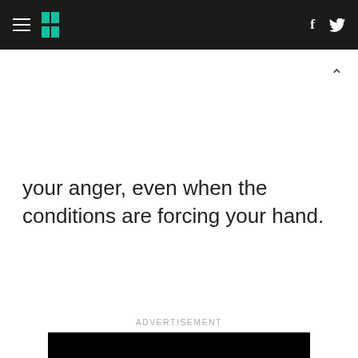HuffPost navigation header with hamburger menu, logo, Facebook and Twitter icons
your anger, even when the conditions are forcing your hand.
ADVERTISEMENT
[Figure (other): Black video player with white play button triangle in center, and a 'Learn more' button below]